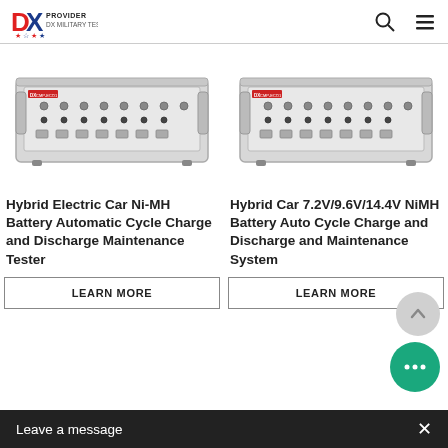DX Provider logo with search and menu icons
[Figure (photo): Photo of DX Provider battery charge/discharge tester unit (left product)]
[Figure (photo): Photo of DX Provider battery charge/discharge tester unit (right product)]
Hybrid Electric Car Ni-MH Battery Automatic Cycle Charge and Discharge Maintenance Tester
Hybrid Car 7.2V/9.6V/14.4V NiMH Battery Auto Cycle Charge and Discharge and Maintenance System
LEARN MORE
LEARN MORE
Leave a message